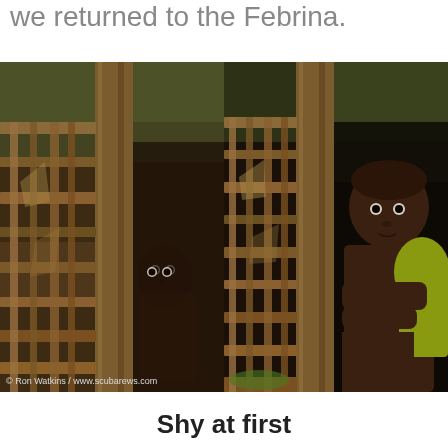we returned to the Febrina.
[Figure (photo): Two side-by-side photos of a young child peeking from behind a wooden slatted structure. Left photo shows the child mostly hidden, right photo shows the child more revealed wearing a yellow top. Photo credit: © Ron Watkins / www.scubarews.com]
Shy at first